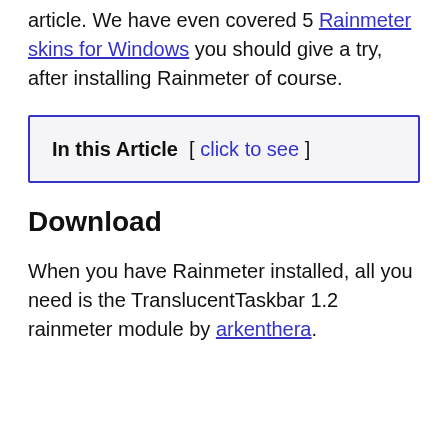article. We have even covered 5 Rainmeter skins for Windows you should give a try, after installing Rainmeter of course.
In this Article  [ click to see ]
Download
When you have Rainmeter installed, all you need is the TranslucentTaskbar 1.2 rainmeter module by arkenthera.